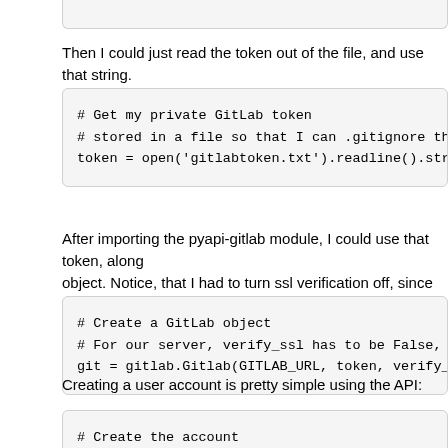Then I could just read the token out of the file, and use that string.
[Figure (screenshot): Code block: # Get my private GitLab token
# stored in a file so that I can .gitignore the f
token = open('gitlabtoken.txt').readline().strip(]
After importing the pyapi-gitlab module, I could use that token, along
object. Notice, that I had to turn ssl verification off, since we only hav
[Figure (screenshot): Code block: # Create a GitLab object
# For our server, verify_ssl has to be False, sir
git = gitlab.Gitlab(GITLAB_URL, token, verify_ssl]
Creating a user account is pretty simple using the API:
[Figure (screenshot): Code block: # Create the account]